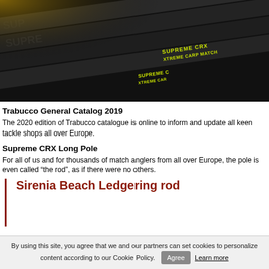[Figure (photo): Dark photo of fishing rod blanks/poles with 'SUPREME CRX XTREME CARP MATCH' text visible in yellow-green on the rods against a dark background.]
Trabucco General Catalog 2019
The 2020 edition of Trabucco catalogue is online to inform and update all keen tackle shops all over Europe.
Supreme CRX Long Pole
For all of us and for thousands of match anglers from all over Europe, the pole is even called “the rod”, as if there were no others.
Sirenia Beach Ledgering rod
By using this site, you agree that we and our partners can set cookies to personalize content according to our Cookie Policy.